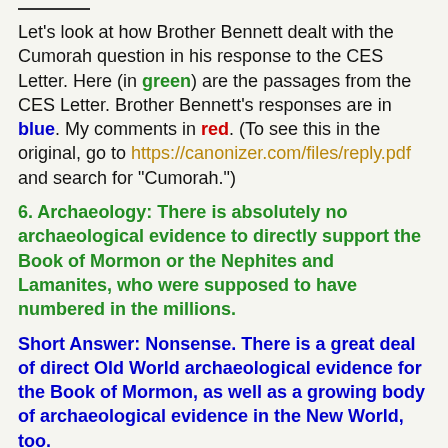Let's look at how Brother Bennett dealt with the Cumorah question in his response to the CES Letter. Here (in green) are the passages from the CES Letter. Brother Bennett's responses are in blue. My comments in red. (To see this in the original, go to https://canonizer.com/files/reply.pdf and search for "Cumorah.")
6. Archaeology: There is absolutely no archaeological evidence to directly support the Book of Mormon or the Nephites and Lamanites, who were supposed to have numbered in the millions.
Short Answer: Nonsense. There is a great deal of direct Old World archaeological evidence for the Book of Mormon, as well as a growing body of archaeological evidence in the New World, too.
[Brother Bennett discusses the Old World evidence, then says] I'll get to the New World evidence as I address the rest of your question.
This is one of the reasons why unofficial apologists